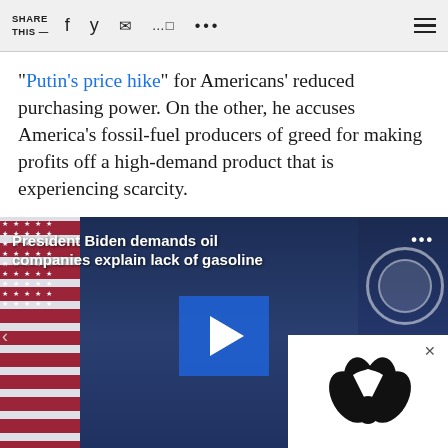SHARE THIS — [social icons]
“Putin’s price hike” for Americans’ reduced purchasing power. On the other, he accuses America’s fossil-fuel producers of greed for making profits off a high-demand product that is experiencing scarcity.
[Figure (screenshot): Video thumbnail showing President Biden at a podium with American flag, with blue play button overlay and NBC peacock logo overlay. Caption reads: President Biden demands oil companies explain lack of gasoline]